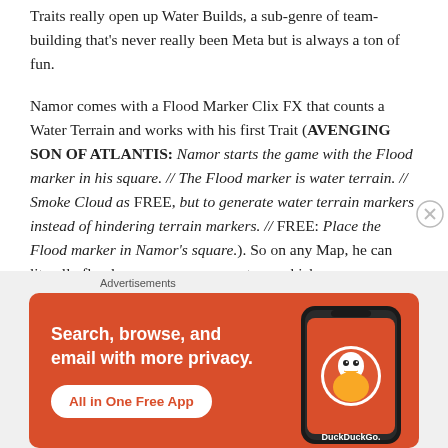Traits really open up Water Builds, a sub-genre of team-building that's never really been Meta but is always a ton of fun.
Namor comes with a Flood Marker Clix FX that counts a Water Terrain and works with his first Trait (AVENGING SON OF ATLANTIS: Namor starts the game with the Flood marker in his square. // The Flood marker is water terrain. // Smoke Cloud as FREE, but to generate water terrain markers instead of hindering terrain markers. // FREE: Place the Flood marker in Namor's square.). So on any Map, he can literally flood seven squares every turn, which can
Advertisements
[Figure (screenshot): DuckDuckGo advertisement banner with orange background. Text: 'Search, browse, and email with more privacy. All in One Free App'. Shows a phone with the DuckDuckGo duck logo.]